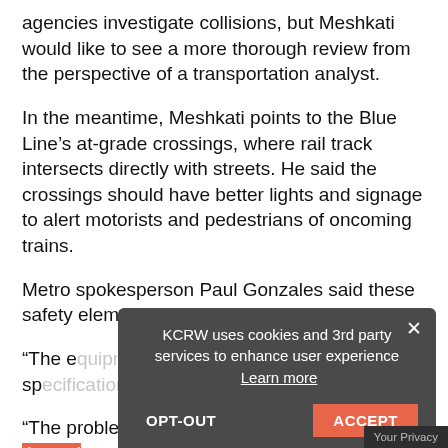agencies investigate collisions, but Meshkati would like to see a more thorough review from the perspective of a transportation analyst.
In the meantime, Meshkati points to the Blue Line’s at-grade crossings, where rail track intersects directly with streets. He said the crossings should have better lights and signage to alert motorists and pedestrians of oncoming trains.
Metro spokesperson Paul Gonzales said these safety elements already exist and are sufficient.
“The equipment… is safely built, it’s up to federal specifications in every detail,” he said.
“The problem we have is when people ignore the red lights or they ignore the crossing arms or they ignore the audible alarms. When this happens, then the…
[Figure (screenshot): Cookie consent popup overlay with dark grey background. Text reads: 'KCRW uses cookies and 3rd party services to enhance user experience Learn more'. Buttons: 'OPT-OUT' and 'ACCEPT'. Close (x) button in top right. 'Your Privacy' badge in bottom right corner.]